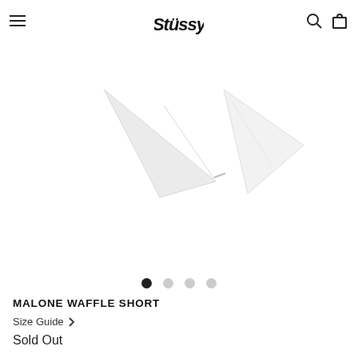Stüssy (logo) — navigation header with hamburger menu, search, and cart icons
[Figure (photo): White waffle-knit shorts product photo showing the waistband/collar area of the garment against a white background]
MALONE WAFFLE SHORT
Size Guide >
Sold Out